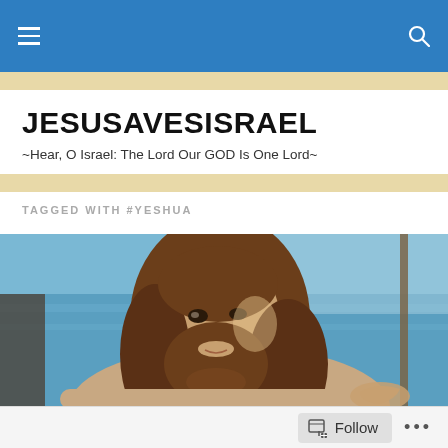JESUSAVESISRAEL — navigation header with hamburger menu and search icon
JESUSAVESISRAEL
~Hear, O Israel: The Lord Our GOD Is One Lord~
TAGGED WITH #YESHUA
[Figure (photo): Photo of a man with long brown hair and beard resembling a depiction of Jesus, with the sea visible in the background and sunlight on the scene]
Follow